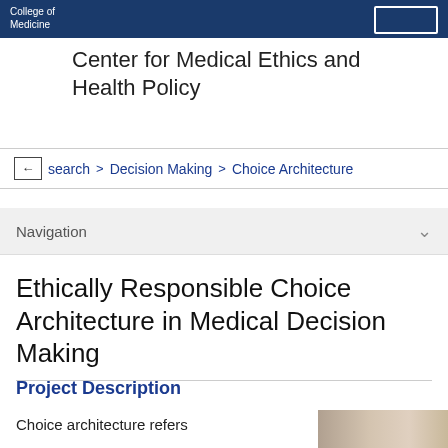College of Medicine
Center for Medical Ethics and Health Policy
search > Decision Making > Choice Architecture
Navigation
Ethically Responsible Choice Architecture in Medical Decision Making
Project Description
Choice architecture refers